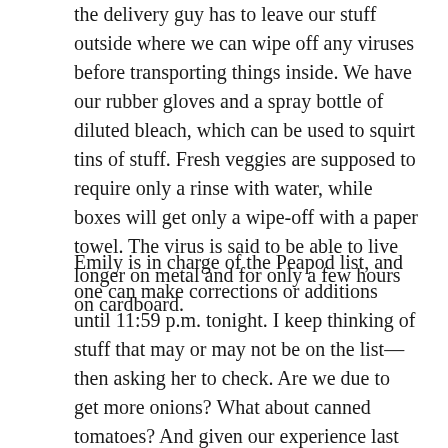the delivery guy has to leave our stuff outside where we can wipe off any viruses before transporting things inside. We have our rubber gloves and a spray bottle of diluted bleach, which can be used to squirt tins of stuff. Fresh veggies are supposed to require only a rinse with water, while boxes will get only a wipe-off with a paper towel. The virus is said to be able to live longer on metal and for only a few hours on cardboard.
Emily is in charge of the Peapod list, and one can make corrections or additions until 11:59 p.m. tonight. I keep thinking of stuff that may or may not be on the list—then asking her to check. Are we due to get more onions? What about canned tomatoes? And given our experience last time, there would seem to be only a 50-50 chance that any given thing will actually be delivered. What we really need are walnuts, honey, oatmeal, and any sort of meats. I figure that after Peapod comes and